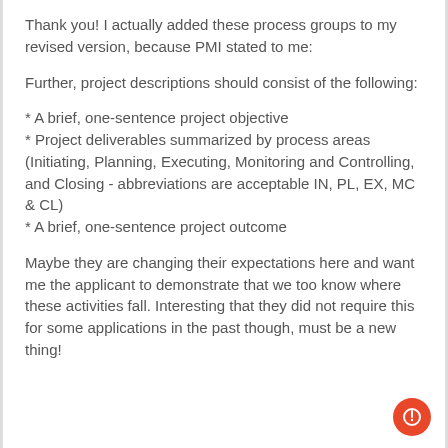Thank you! I actually added these process groups to my revised version, because PMI stated to me:
Further, project descriptions should consist of the following:
* A brief, one-sentence project objective
* Project deliverables summarized by process areas (Initiating, Planning, Executing, Monitoring and Controlling, and Closing - abbreviations are acceptable IN, PL, EX, MC & CL)
* A brief, one-sentence project outcome
Maybe they are changing their expectations here and want me the applicant to demonstrate that we too know where these activities fall. Interesting that they did not require this for some applications in the past though, must be a new thing!